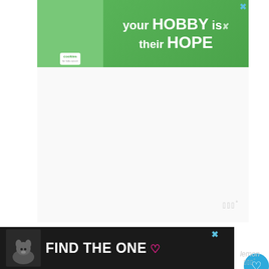[Figure (other): Green advertisement banner: 'your HOBBY is their HOPE' with cookies for kids cancer logo and heart-shaped cookie image]
[Figure (other): Gray advertisement placeholder area with Wunderkind logo watermark]
Instructions
To make your Lemon Cupcakes, preheat oven to 375 degrees F and line 24 cupcake pan cups with paper liners.
Sift the flour, baking powder and salt together in a bowl. In another bowl, beat the softened butter and sugar with an electric mixer until light and fluffy. Beat in the eggs one at a time, beating each egg until incorporated before
[Figure (other): Bottom dark advertisement banner: FIND THE ONE with dog image and heart icon]
[Figure (other): Lemon watermark and Wunderkind logo at bottom right]